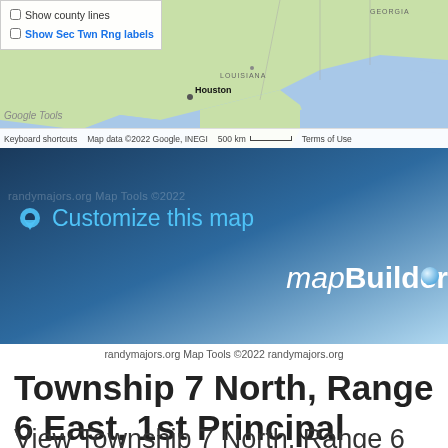[Figure (map): Google Maps screenshot showing southeastern United States with Houston, Louisiana, Georgia visible. Includes checkbox controls for 'Show county lines' and 'Show Sec Twn Rng labels'. Map footer shows keyboard shortcuts, map data copyright 2022 Google INEGI, 500 km scale bar, Terms of Use.]
[Figure (screenshot): mapBuilder banner with blue gradient background, location pin icon, 'Customize this map' text in light blue, and 'mapBuilder' branding with decorative dot on the right side. Watermark text partially visible.]
randymajors.org Map Tools ©2022 randymajors.org
Township 7 North, Range 6 East, 1st Principal Meridian, Ohio
View Township 7 North, Range 6 East, 1st Principal
Meridian, Ohio Section